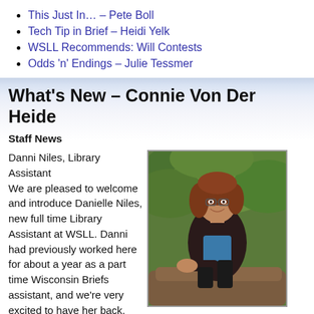This Just In… – Pete Boll
Tech Tip in Brief – Heidi Yelk
WSLL Recommends: Will Contests
Odds 'n' Endings – Julie Tessmer
What's New – Connie Von Der Heide
Staff News
Danni Niles, Library Assistant
We are pleased to welcome and introduce Danielle Niles, new full time Library Assistant at WSLL. Danni had previously worked here for about a year as a part time Wisconsin Briefs assistant, and we're very excited to have her back. She brings twelve years of experience working in
[Figure (photo): Photo of Danni Niles, a woman with reddish-brown hair wearing glasses, a blue top and dark cardigan, sitting on a tree branch outdoors with green foliage in background.]